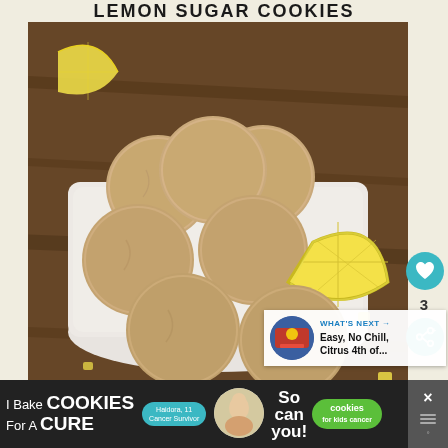LEMON SUGAR COOKIES
[Figure (photo): A white rectangular plate stacked high with large round lemon sugar cookies, garnished with a fresh lemon wedge slice on top, set on a dark wood surface with scattered lemon pieces around.]
3
WHAT'S NEXT → Easy, No Chill, Citrus 4th of...
I Bake COOKIES For A CURE  Haidora, 11 Cancer Survivor  So can you! cookies for kids cancer